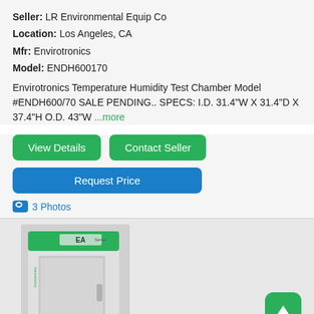Seller: LR Environmental Equip Co
Location: Los Angeles, CA
Mfr: Envirotronics
Model: ENDH600170
Envirotronics Temperature Humidity Test Chamber Model #ENDH600/70 SALE PENDING.. SPECS: I.D. 31.4"W X 31.4"D X 37.4"H O.D. 43"W ...more
View Details
Contact Seller
Request Price
3 Photos
[Figure (photo): Envirotronics EA Series temperature humidity test chamber, white with green trim, tall cabinet-style unit]